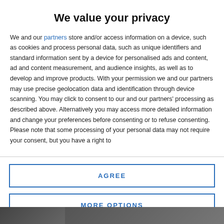We value your privacy
We and our partners store and/or access information on a device, such as cookies and process personal data, such as unique identifiers and standard information sent by a device for personalised ads and content, ad and content measurement, and audience insights, as well as to develop and improve products. With your permission we and our partners may use precise geolocation data and identification through device scanning. You may click to consent to our and our partners' processing as described above. Alternatively you may access more detailed information and change your preferences before consenting or to refuse consenting. Please note that some processing of your personal data may not require your consent, but you have a right to
AGREE
MORE OPTIONS
[Figure (photo): Bottom strip showing partial background image of a scene, partially obscured by modal overlay]